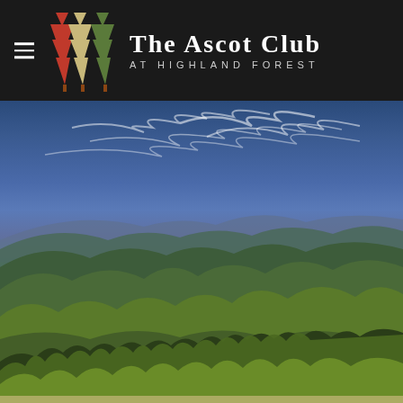[Figure (logo): The Ascot Club at Highland Forest logo with three stylized pine trees (red, beige, green) and text header bar on dark background with hamburger menu icon]
[Figure (photo): Panoramic landscape photograph of green forested mountain ridges under a dramatic blue sky with wispy cirrus clouds, viewed from an elevated overlook with trees in the foreground]